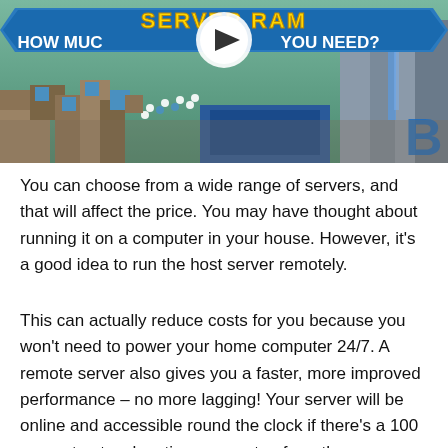[Figure (screenshot): Video thumbnail showing a Minecraft-style game scene with blue and gray block terrain. Overlay text reads 'SERVER RAM HOW MUCH DO YOU NEED?' with a yellow and white stylized font on a blue banner. A play button circle is in the center. A large letter 'B' watermark appears in blue in the bottom right corner.]
You can choose from a wide range of servers, and that will affect the price. You may have thought about running it on a computer in your house. However, it’s a good idea to run the host server remotely.
This can actually reduce costs for you because you won’t need to power your home computer 24/7. A remote server also gives you a faster, more improved performance – no more lagging! Your server will be online and accessible round the clock if there’s a 100 percent network uptime guarantee from the server company.